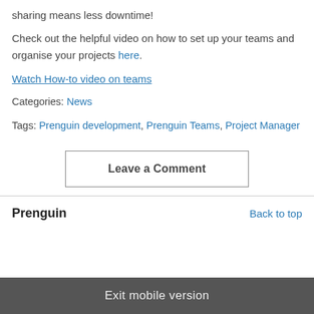sharing means less downtime!
Check out the helpful video on how to set up your teams and organise your projects here.
Watch How-to video on teams
Categories: News
Tags: Prenguin development, Prenguin Teams, Project Manager
Leave a Comment
Prenguin
Back to top
Exit mobile version